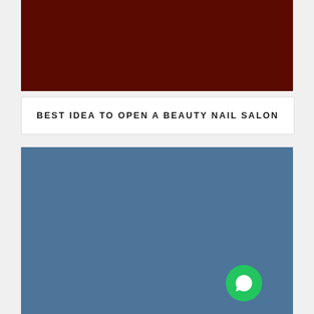[Figure (photo): Dark reddish-brown banner image at the top of the page]
BEST IDEA TO OPEN A BEAUTY NAIL SALON
[Figure (photo): Large blue/steel-blue colored image block filling the lower portion of the page, with a green chat bubble icon in the lower right corner]